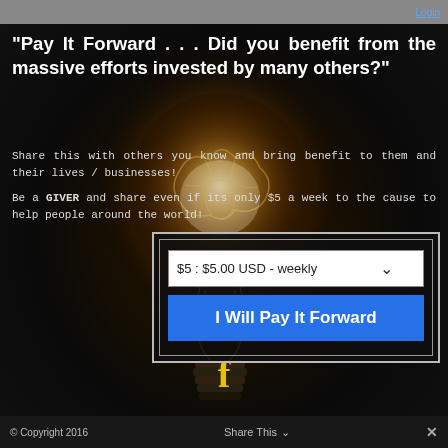Login
“Pay It Forward . . . Did you benefit from the massive efforts invested by many others?”
Share this with others you know and bring benefit to them and their lives / businesses!
Be a GIVER and share even if its only $5 a week to the cause to help people around the world!
[Figure (illustration): Glowing lightbulb with brain inside, dark background with warm amber glow]
$5 : $5.00 USD - weekly
I Will Pay It Forward
[Figure (logo): Facebook 'f' logo in yellow/gold color]
© Copyright 2016  Share This